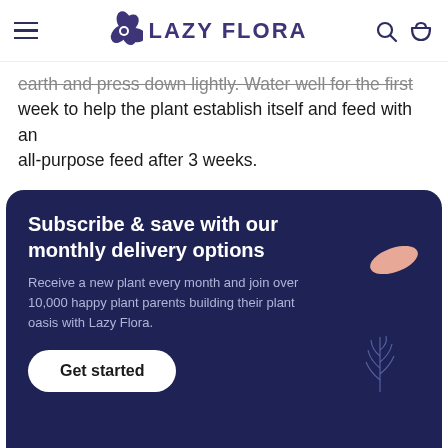LAZY FLORA
earth and press down lightly. Water well for the first week to help the plant establish itself and feed with an all-purpose feed after 3 weeks.
[Figure (infographic): Dark navy promotional card: 'Subscribe & save with our monthly delivery options'. Body text: 'Receive a new plant every month and join over 10,000 happy plant parents building their plant oasis with Lazy Flora.' Button: 'Get started'. Decorative pink leaf and white fern illustrations.]